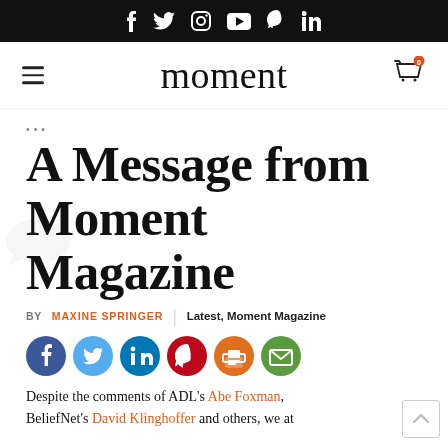Social media icons: Facebook, Twitter, Instagram, YouTube, Pinterest, LinkedIn
moment (logo) — navigation bar with hamburger menu and cart icon (0 items)
A Message from Moment Magazine
BY MAXINE SPRINGER | Latest, Moment Magazine
[Figure (other): Row of social share icon buttons: Facebook (blue), Twitter (light blue), LinkedIn (blue), Pinterest (red), Print (orange), Email (green)]
Despite the comments of ADL's Abe Foxman, BeliefNet's David Klinghoffer and others, we at